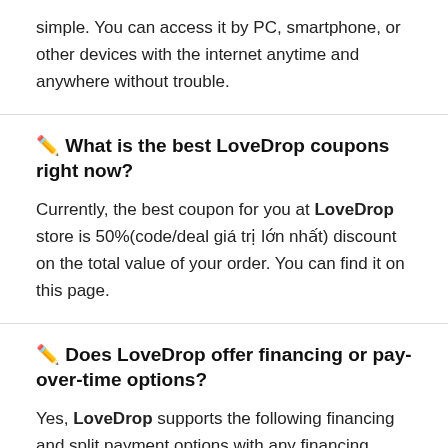simple. You can access it by PC, smartphone, or other devices with the internet anytime and anywhere without trouble.
✏️ What is the best LoveDrop coupons right now?
Currently, the best coupon for you at LoveDrop store is 50%(code/deal giá trị lớn nhất) discount on the total value of your order. You can find it on this page.
✏️ Does LoveDrop offer financing or pay-over-time options?
Yes, LoveDrop supports the following financing and split payment options with any financing option, you can buy now and pay later in installment.